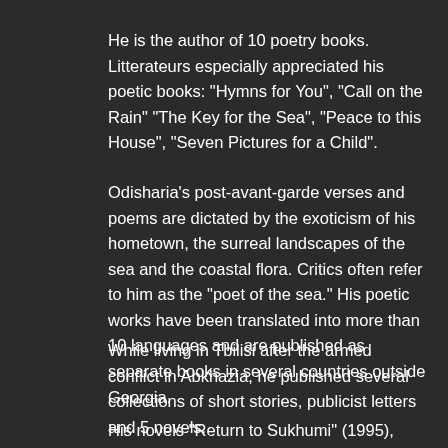He is the author of 10 poetry books. Litterateurs especially appreciated his poetic books: "Hymns for You", "Call on the Rain" "The Key for the Sea", "Peace to this House", "Seven Pictures for a Child".
Odisharia's post-avant-garde verses and poems are dictated by the exoticism of his hometown, the surreal landscapes of the sea and the coastal flora. Critics often refer to him as the "poet of the sea." His poetic works have been translated into more than 10 languages and are published as separate books in several countries outside Georgia.
While living in Tbilisi after the armed conflict in Abkhazia, he published several collections of short stories, publicist letters and 5 novels.
His novels "Return to Sukhumi" (1995), "Black Sea